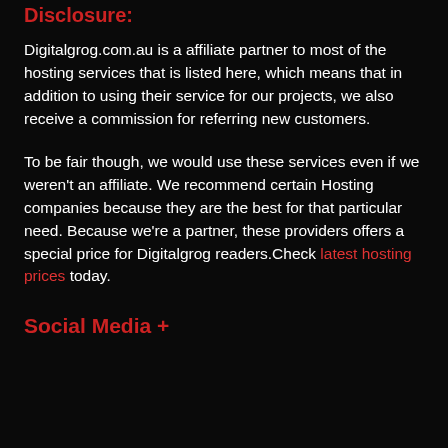Disclosure:
Digitalgrog.com.au is a affiliate partner to most of the hosting services that is listed here, which means that in addition to using their service for our projects, we also receive a commission for referring new customers.
To be fair though, we would use these services even if we weren't an affiliate. We recommend certain Hosting companies because they are the best for that particular need. Because we're a partner, these providers offers a special price for Digitalgrog readers.Check latest hosting prices today.
Social Media +